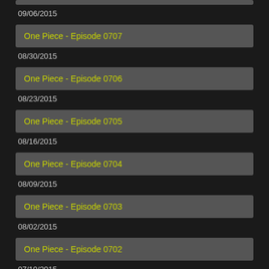09/06/2015
One Piece - Episode 0707
08/30/2015
One Piece - Episode 0706
08/23/2015
One Piece - Episode 0705
08/16/2015
One Piece - Episode 0704
08/09/2015
One Piece - Episode 0703
08/02/2015
One Piece - Episode 0702
07/19/2015